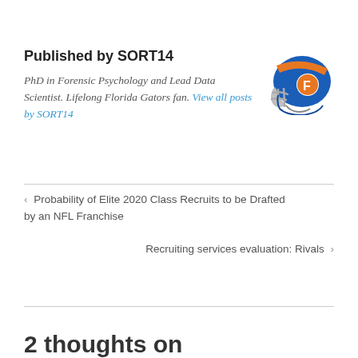Published by SORT14
PhD in Forensic Psychology and Lead Data Scientist. Lifelong Florida Gators fan. View all posts by SORT14
[Figure (illustration): Florida Gators football helmet, blue with orange stripe and F logo]
< Probability of Elite 2020 Class Recruits to be Drafted by an NFL Franchise
Recruiting services evaluation: Rivals >
2 thoughts on